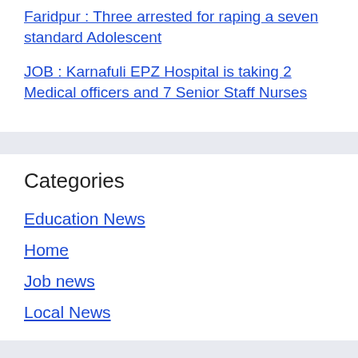Faridpur : Three arrested for raping a seven standard Adolescent
JOB : Karnafuli EPZ Hospital is taking 2 Medical officers and 7 Senior Staff Nurses
Categories
Education News
Home
Job news
Local News